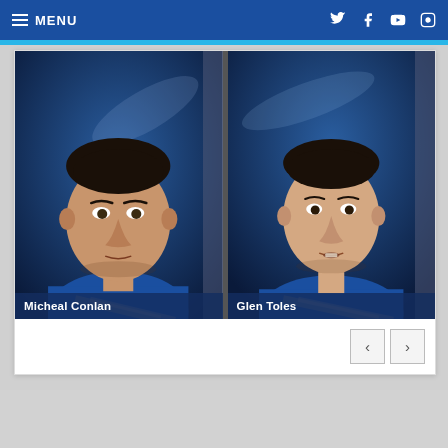MENU
[Figure (photo): Headshot photo of Micheal Conlan in blue athletic shirt against blue background]
Micheal Conlan
[Figure (photo): Headshot photo of Glen Toles in blue athletic shirt against blue background]
Glen Toles